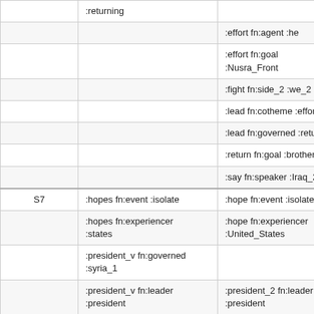|  | Col2 | Col3 |
| --- | --- | --- |
|  | :returning |  |
|  |  | :effort fn:agent :he |
|  |  | :effort fn:goal :Nusra_Front |
|  |  | :fight fn:side_2 :we_2 |
|  |  | :lead fn:cotheme :effort |
|  |  | :lead fn:governed :return |
|  |  | :return fn:goal :brother |
|  |  | :say fn:speaker :Iraq_2 |
| S7 | :hopes fn:event :isolate | :hope fn:event :isolate |
|  | :hopes fn:experiencer :states | :hope fn:experiencer :United_States |
|  | :president_v fn:governed :syria_1 |  |
|  | :president_v fn:leader :president | :president_2 fn:leader :president |